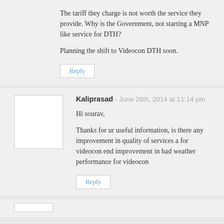The tariff they charge is not worth the service they provide. Why is the Government, not starting a MNP like service for DTH?

Planning the shift to Videocon DTH soon.
Reply
Kaliprasad - June 26th, 2014 at 11:14 pm
Hi sourav,

Thanks for ur useful information, is there any improvement in quality of services a for videocon end improvement in bad weather performance for videocon
Reply